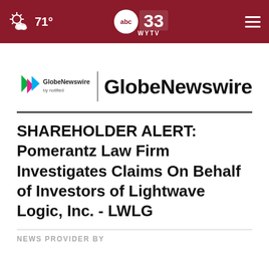71° | ABC 33 WYTV
[Figure (logo): GlobeNewswire by notified logo with colorful play-button icon, vertical divider, and 'GlobeNewswire' text]
SHAREHOLDER ALERT: Pomerantz Law Firm Investigates Claims On Behalf of Investors of Lightwave Logic, Inc. - LWLG
NEWS PROVIDER BY